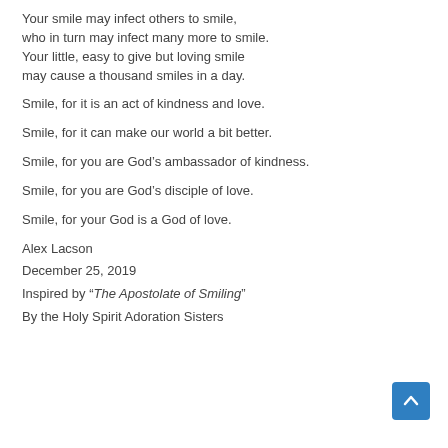Your smile may infect others to smile,
who in turn may infect many more to smile.
Your little, easy to give but loving smile
may cause a thousand smiles in a day.
Smile, for it is an act of kindness and love.
Smile, for it can make our world a bit better.
Smile, for you are God’s ambassador of kindness.
Smile, for you are God’s disciple of love.
Smile, for your God is a God of love.
Alex Lacson
December 25, 2019
Inspired by “The Apostolate of Smiling”
By the Holy Spirit Adoration Sisters